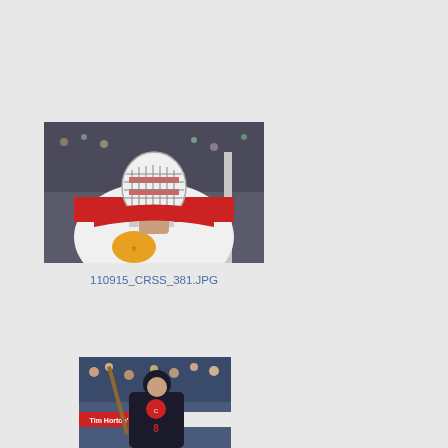[Figure (photo): Hockey goalie wearing a red and white Russian national team jersey with CCM branding and a decorated goalie mask, looking upward, with crowd in background]
110915_CRSS_381.JPG
[Figure (photo): Hockey player in dark jersey with helmet holding a stick, with crowd in background and Tim Hortons advertising board visible]